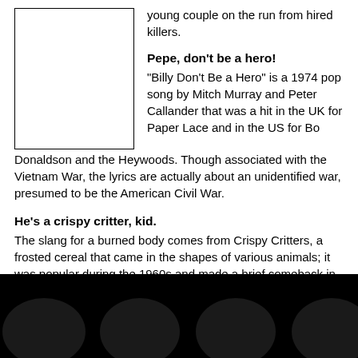young couple on the run from hired killers.
Pepe, don't be a hero!
"Billy Don't Be a Hero" is a 1974 pop song by Mitch Murray and Peter Callander that was a hit in the UK for Paper Lace and in the US for Bo Donaldson and the Heywoods. Though associated with the Vietnam War, the lyrics are actually about an unidentified war, presumed to be the American Civil War.
He's a crispy critter, kid.
The slang for a burned body comes from Crispy Critters, a frosted cereal that came in the shapes of various animals; it was popular during the 1960s and made a brief comeback in 1988. It was manufactured by Post.
Wow, there was a bear with a ranger hat on, and he kept coming ___!"
[Figure (illustration): Black silhouettes of audience members' heads at the bottom of the page against a black background bar]